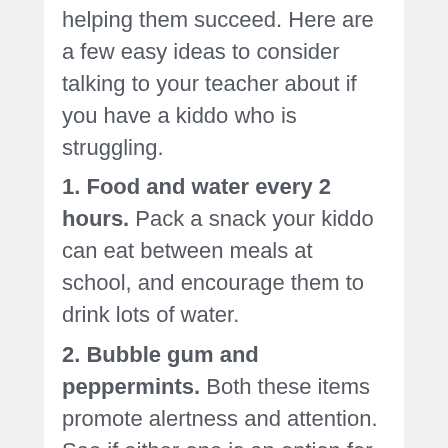helping them succeed. Here are a few easy ideas to consider talking to your teacher about if you have a kiddo who is struggling.
1. Food and water every 2 hours. Pack a snack your kiddo can eat between meals at school, and encourage them to drink lots of water.
2. Bubble gum and peppermints. Both these items promote alertness and attention. See if either one is an option for times your child